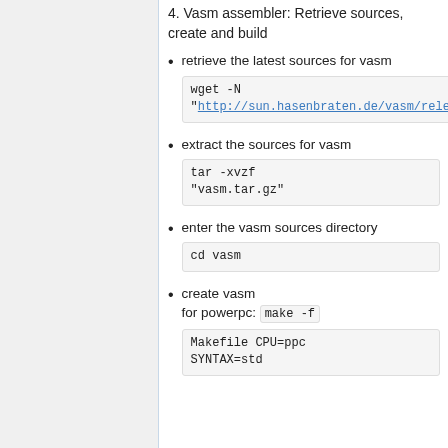4. Vasm assembler: Retrieve sources, create and build
retrieve the latest sources for vasm
wget -N "http://sun.hasenbraten.de/vasm/release/vasm.tar.gz"
extract the sources for vasm
tar -xvzf "vasm.tar.gz"
enter the vasm sources directory
cd vasm
create vasm
for powerpc: make -f Makefile CPU=ppc SYNTAX=std